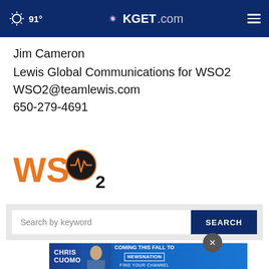91° KGET.com
Jim Cameron
Lewis Global Communications for WSO2
WSO2@teamlewis.com
650-279-4691
[Figure (logo): WSO2 logo — orange letters W, S, O (with heartbeat icon inside an orange circle), subscript 2, in black]
Search by keyword
[Figure (infographic): Chris Cuomo coming this fall to NewsNation advertisement banner]